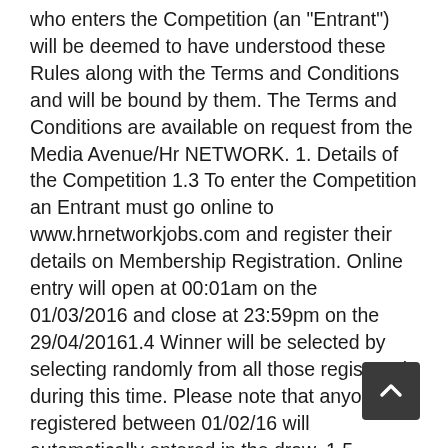who enters the Competition (an "Entrant") will be deemed to have understood these Rules along with the Terms and Conditions and will be bound by them. The Terms and Conditions are available on request from the Media Avenue/Hr NETWORK. 1. Details of the Competition 1.3 To enter the Competition an Entrant must go online to www.hrnetworkjobs.com and register their details on Membership Registration. Online entry will open at 00:01am on the 01/03/2016 and close at 23:59pm on the 29/04/20161.4 Winner will be selected by selecting randomly from all those registered during this time. Please note that anyone registered between 01/02/16 will automatically entered in the draw. 1.5 Winner will be contacted by Lee Turner of Hr NETWORK/Media Avenue Ltd 2. Eligibility 2.1 Only those registering for Hr NETWORK website membership between 01/03/16 and 29/04/16 will be eligible to take part 3. Prize 3.1 Apple IPad Mini 3.2 The apple IPad Mini cannot be exchanged for another size/colour/model or cash substitute 3.2 Hr NETWORK/Media Avenue